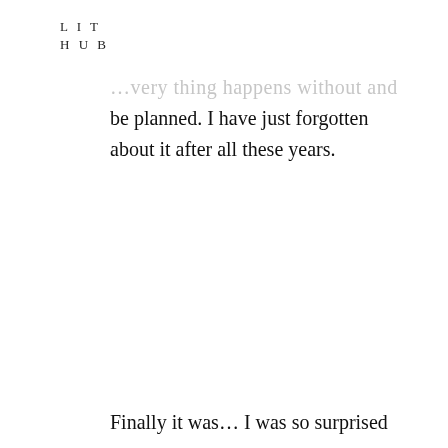L I T
H U B
…very thing happens without and must be planned. I have just forgotten about it after all these years.
Finally it was… I was so surprised